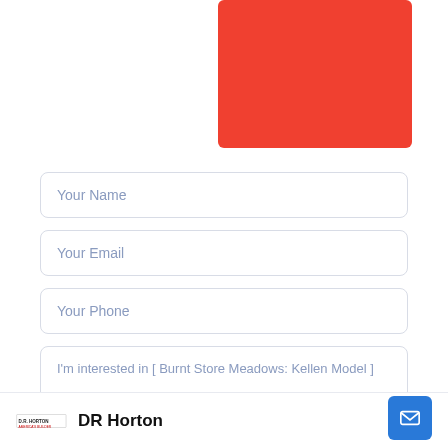[Figure (photo): Red/orange-red rectangular image block in the upper right area of the page]
Your Name
Your Email
Your Phone
I'm interested in [ Burnt Store Meadows: Kellen Model ]
DR Horton